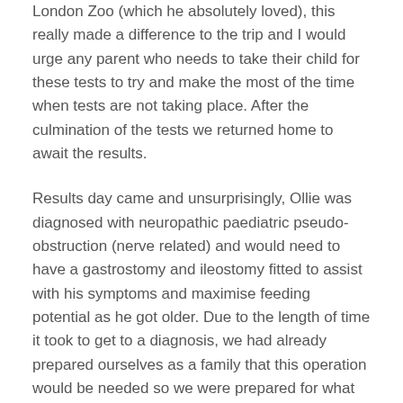London Zoo (which he absolutely loved), this really made a difference to the trip and I would urge any parent who needs to take their child for these tests to try and make the most of the time when tests are not taking place. After the culmination of the tests we returned home to await the results.
Results day came and unsurprisingly, Ollie was diagnosed with neuropathic paediatric pseudo-obstruction (nerve related) and would need to have a gastrostomy and ileostomy fitted to assist with his symptoms and maximise feeding potential as he got older. Due to the length of time it took to get to a diagnosis, we had already prepared ourselves as a family that this operation would be needed so we were prepared for what would come next.
A few more months passed and another trip to Great Ormond Street, this time for surgery. Ollie true to form was unphased by the whole process and took it all in his stride. The surgery took around 6 hours however there was delay due to an